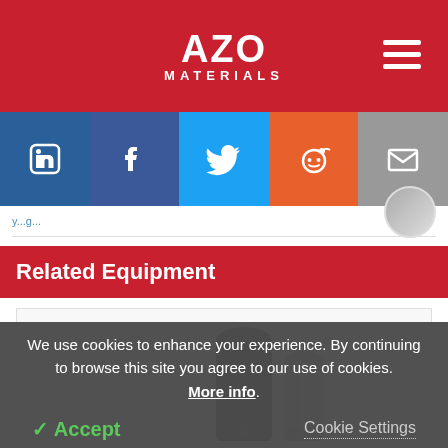AZO MATERIALS
[Figure (infographic): Social media sharing bar with LinkedIn, Facebook, Twitter, Reddit, and Email buttons]
breadcrumb link text
Related Equipment
[Figure (photo): Photo of black and silver cylindrical tubes/pipes for equipment display]
We use cookies to enhance your experience. By continuing to browse this site you agree to our use of cookies. More info.
✓ Accept
Cookie Settings